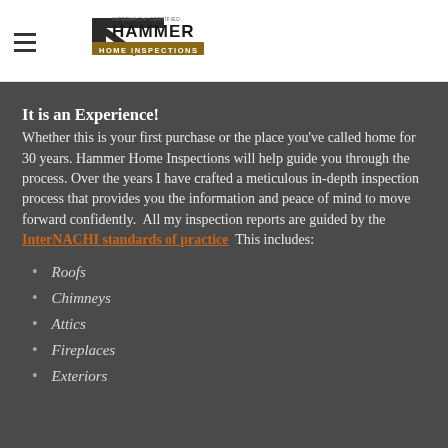Hammer Home Inspections
It is an Experience!
Whether this is your first purchase or the place you've called home for 30 years. Hammer Home Inspections will help guide you through the process. Over the years I have crafted a meticulous in-depth inspection process that provides you the information and peace of mind to move forward confidently.  All my inspection reports are guided by the InterNACHI standards of practice  This includes:
Roofs
Chimneys
Attics
Fireplaces
Exteriors